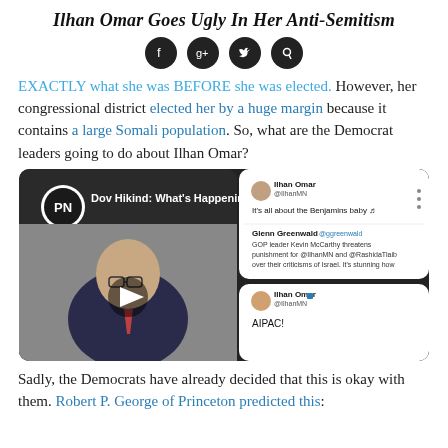Ilhan Omar Goes Ugly In Her Anti-Semitism
[Figure (other): Social media share icons: Facebook, Google+, Twitter, Pinterest]
EXACTLY what she was BEFORE she was elected. However, her congressional district elected her by a huge margin because it contains a large Somali population. So, what are the Democrat leaders going to do about Ilhan Omar?
[Figure (screenshot): Embedded YouTube video thumbnail showing Dov Hikind: What's Happening T... with overlaid tweets from Ilhan Omar (@IlhanMN) saying 'It's all about the Benjamins baby' and 'AIPAC!', and a tweet from Glenn Greenwald (@ggreenwald) about GOP leader Kevin McCarthy threatening punishment for @IlhanMN and @RashidaTlaib over their criticisms of Israel.]
Sadly, the Democrats have already decided that this is okay with them. Robert P. George of Princeton predicted this: